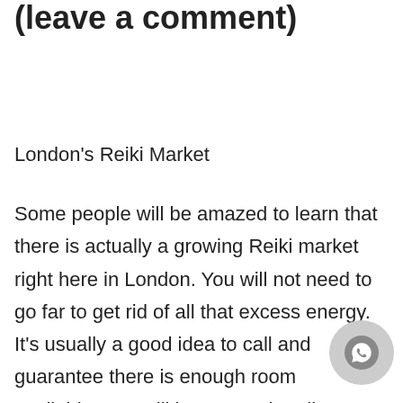(leave a comment)
London's Reiki Market
Some people will be amazed to learn that there is actually a growing Reiki market right here in London. You will not need to go far to get rid of all that excess energy. It's usually a good idea to call and guarantee there is enough room available. You will be amazed to discover exactly how speedily this kind of therapy has grown. It